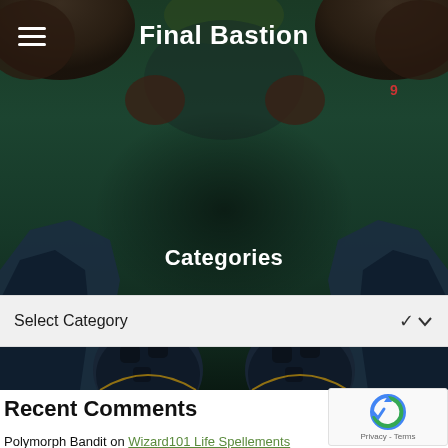Final Bastion
Categories
Select Category
[Figure (screenshot): Dark fantasy game background with dark green forest scenery, rocks, and character boots visible at the bottom]
Recent Comments
Polymorph Bandit on Wizard101 Life Spellements